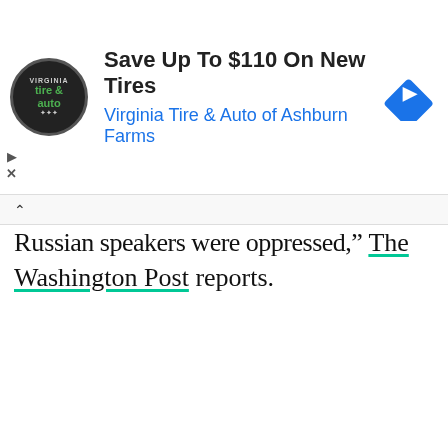[Figure (screenshot): Advertisement banner for Virginia Tire & Auto of Ashburn Farms. Shows circular logo with 'tire & auto' text, headline 'Save Up To $110 On New Tires', subline 'Virginia Tire & Auto of Ashburn Farms', and a blue diamond-shaped navigation icon on the right.]
Russian speakers were oppressed," The Washington Post reports.